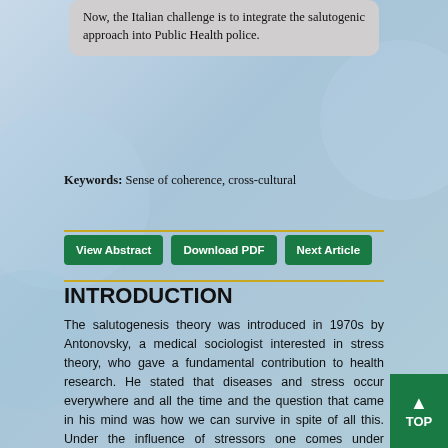Now, the Italian challenge is to integrate the salutogenic approach into Public Health police.
Keywords: Sense of coherence, cross-cultural
View Abstract | Download PDF | Next Article
INTRODUCTION
The salutogenesis theory was introduced in 1970s by Antonovsky, a medical sociologist interested in stress theory, who gave a fundamental contribution to health research. He stated that diseases and stress occur everywhere and all the time and the question that came in his mind was how we can survive in spite of all this. Under the influence of stressors one comes under tension thereafter either succumbs under the